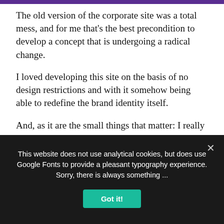The old version of the corporate site was a total mess, and for me that's the best precondition to develop a concept that is undergoing a radical change.
I loved developing this site on the basis of no design restrictions and with it somehow being able to redefine the brand identity itself.
And, as it are the small things that matter: I really loved the bubble animation in the background bubbling around. 🙂
R.I.P. 2015 – 2021
This website does not use analytical cookies, but does use Google Fonts to provide a pleasant typography experience. Sorry, there is always something ...
Got it!